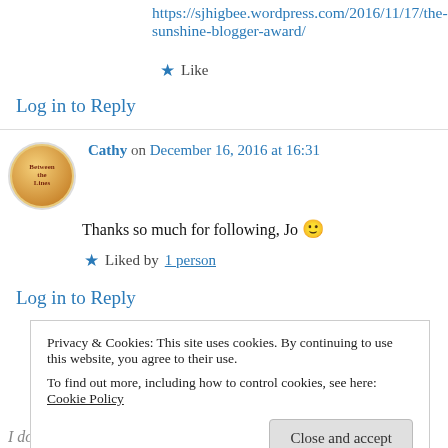https://sjhigbee.wordpress.com/2016/11/17/the-sunshine-blogger-award/
★ Like
Log in to Reply
Cathy on December 16, 2016 at 16:31
Thanks so much for following, Jo 🙂
★ Liked by 1 person
Log in to Reply
Privacy & Cookies: This site uses cookies. By continuing to use this website, you agree to their use.
To find out more, including how to control cookies, see here: Cookie Policy
Close and accept
I don't know why I wasn't before!! Lovely to